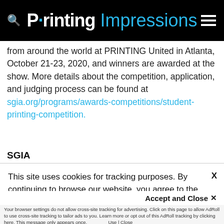Printing Impressions
from around the world at PRINTING United in Atlanta, October 21-23, 2020, and winners are awarded at the show. More details about the competition, application, and judging process can be found at sgia.org/programs/awards-competitions/student-printing-competition.
SGIA
This site uses cookies for tracking purposes. By continuing to browse our website, you agree to the storing of first- and third-party cookies on your device to enhance site navigation, analyze site usage, and assist in our marketing and
Accept and Close ✕
Your browser settings do not allow cross-site tracking for advertising. Click on this page to allow AdRoll to use cross-site tracking to tailor ads to you. Learn more or opt out of this AdRoll tracking by clicking here. This message only appears once.